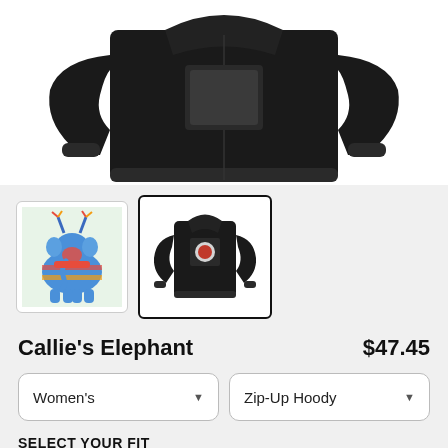[Figure (photo): Black zip-up hoodie product photo showing the back of the hoodie on a white background]
[Figure (photo): Thumbnail 1: colorful elephant illustration]
[Figure (photo): Thumbnail 2: black hoodie with design on back (selected, shown with black border)]
Callie's Elephant
$47.45
Women's
Zip-Up Hoody
SELECT YOUR FIT
$47.45
French Terry
$61.95
Sponge Fleece